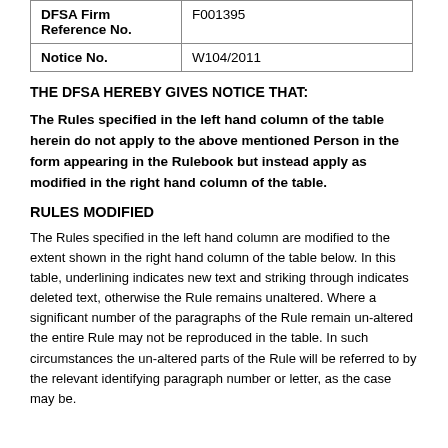| DFSA Firm Reference No. |  |
| --- | --- |
| DFSA Firm Reference No. | F001395 |
| Notice No. | W104/2011 |
THE DFSA HEREBY GIVES NOTICE THAT:
The Rules specified in the left hand column of the table herein do not apply to the above mentioned Person in the form appearing in the Rulebook but instead apply as modified in the right hand column of the table.
RULES MODIFIED
The Rules specified in the left hand column are modified to the extent shown in the right hand column of the table below. In this table, underlining indicates new text and striking through indicates deleted text, otherwise the Rule remains unaltered. Where a significant number of the paragraphs of the Rule remain un-altered the entire Rule may not be reproduced in the table. In such circumstances the un-altered parts of the Rule will be referred to by the relevant identifying paragraph number or letter, as the case may be.